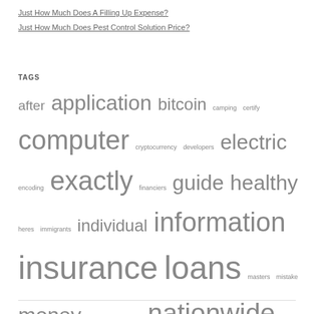Just How Much Does A Filling Up Expense?
Just How Much Does Pest Control Solution Price?
TAGS
after application bitcoin camping certify computer cryptocurrency developers electric encoding exactly financiers guide healthy heres immigrants individual information insurance loans masters mistake money motorists national nationwide ought outdoor parks pension questions quick regional reimbursement rounded signs solution state states symptoms tennessee things training unsupported wheres